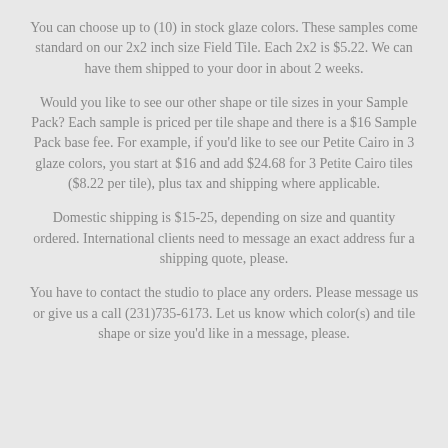You can choose up to (10) in stock glaze colors. These samples come standard on our 2x2 inch size Field Tile. Each 2x2 is $5.22. We can have them shipped to your door in about 2 weeks.
Would you like to see our other shape or tile sizes in your Sample Pack? Each sample is priced per tile shape and there is a $16 Sample Pack base fee. For example, if you'd like to see our Petite Cairo in 3 glaze colors, you start at $16 and add $24.68 for 3 Petite Cairo tiles ($8.22 per tile), plus tax and shipping where applicable.
Domestic shipping is $15-25, depending on size and quantity ordered. International clients need to message an exact address fur a shipping quote, please.
You have to contact the studio to place any orders. Please message us or give us a call (231)735-6173. Let us know which color(s) and tile shape or size you'd like in a message, please.